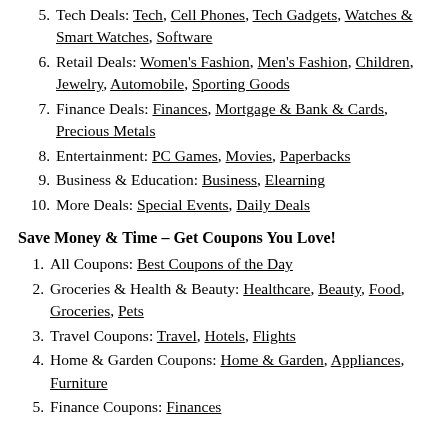5. Tech Deals: Tech, Cell Phones, Tech Gadgets, Watches & Smart Watches, Software
6. Retail Deals: Women's Fashion, Men's Fashion, Children, Jewelry, Automobile, Sporting Goods
7. Finance Deals: Finances, Mortgage & Bank & Cards, Precious Metals
8. Entertainment: PC Games, Movies, Paperbacks
9. Business & Education: Business, Elearning
10. More Deals: Special Events, Daily Deals
Save Money & Time – Get Coupons You Love!
1. All Coupons: Best Coupons of the Day
2. Groceries & Health & Beauty: Healthcare, Beauty, Food, Groceries, Pets
3. Travel Coupons: Travel, Hotels, Flights
4. Home & Garden Coupons: Home & Garden, Appliances, Furniture
5. Finance Coupons: Finances